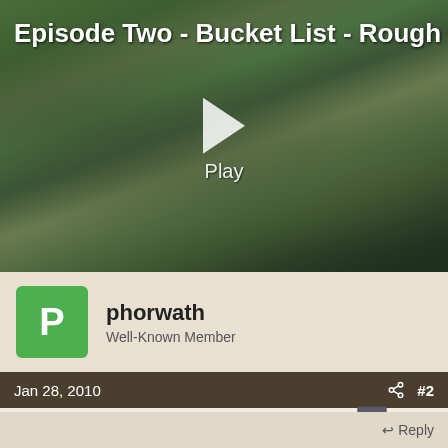[Figure (screenshot): Video thumbnail showing a person in camouflage gear in a wetland/marsh setting with green grass and water. A play button triangle and 'Play' text are overlaid in the center. The title 'Episode Two - Bucket List - Rough ...' appears at the top of the thumbnail.]
phorwath
Well-Known Member
Jan 28, 2010
#2
Thanks for the status report.
Reply